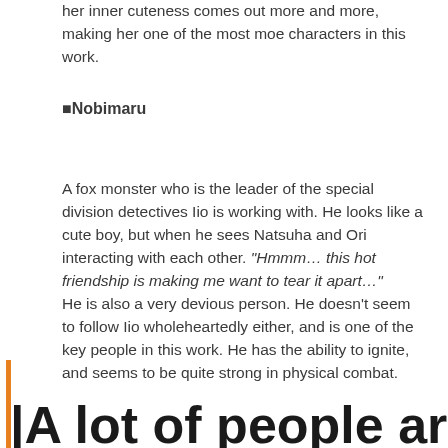her inner cuteness comes out more and more, making her one of the most moe characters in this work.
■Nobimaru
A fox monster who is the leader of the special division detectives Iio is working with. He looks like a cute boy, but when he sees Natsuha and Ori interacting with each other. “Hmmm… this hot friendship is making me want to tear it apart…”
He is also a very devious person. He doesn’t seem to follow Iio wholeheartedly either, and is one of the key people in this work. He has the ability to ignite, and seems to be quite strong in physical combat.
|A lot of people are